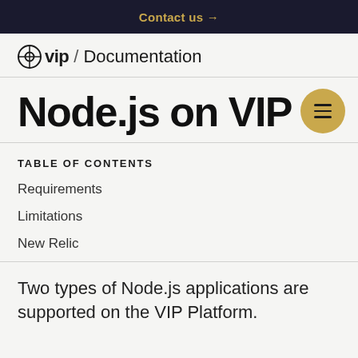Contact us →
WP VIP / Documentation
Node.js on VIP
TABLE OF CONTENTS
Requirements
Limitations
New Relic
Two types of Node.js applications are supported on the VIP Platform.